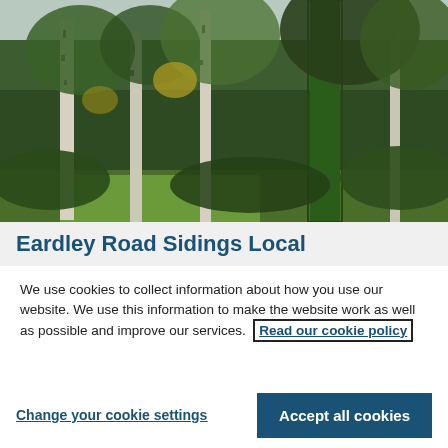[Figure (photo): Photograph of a wooded area with birch trees and dense green foliage/undergrowth, taken in autumn.]
Eardley Road Sidings Local
We use cookies to collect information about how you use our website. We use this information to make the website work as well as possible and improve our services.  Read our cookie policy
Change your cookie settings
Accept all cookies